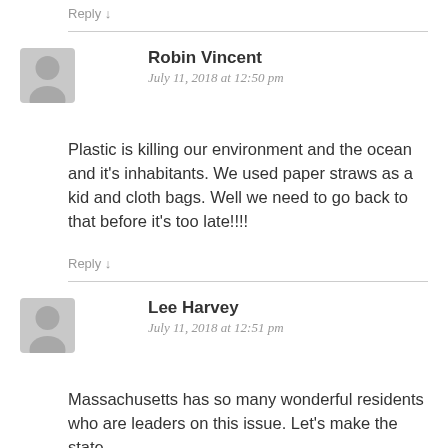Reply ↓
Robin Vincent
July 11, 2018 at 12:50 pm
Plastic is killing our environment and the ocean and it's inhabitants. We used paper straws as a kid and cloth bags. Well we need to go back to that before it's too late!!!!
Reply ↓
Lee Harvey
July 11, 2018 at 12:51 pm
Massachusetts has so many wonderful residents who are leaders on this issue. Let's make the state